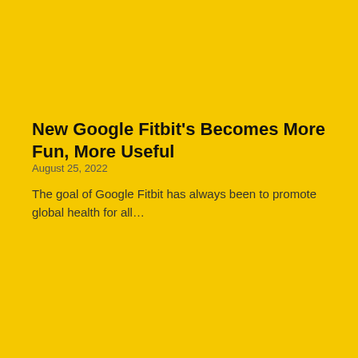New Google Fitbit's Becomes More Fun, More Useful
August 25, 2022
The goal of Google Fitbit has always been to promote global health for all…